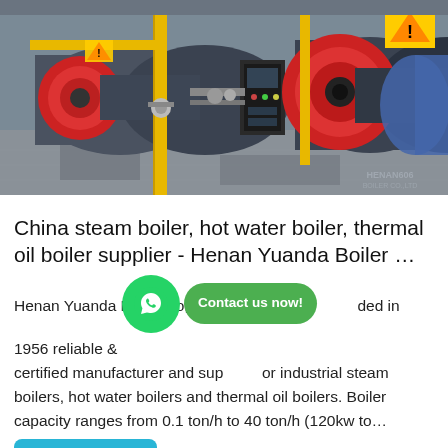[Figure (photo): Industrial boiler room with multiple steam boilers featuring red burner heads and yellow gas pipes. Warning/caution signs visible. A company logo/watermark appears in lower right. Machinery includes horizontal cylindrical boilers with associated piping, an electrical control panel, and various fittings.]
China steam boiler, hot water boiler, thermal oil boiler supplier - Henan Yuanda Boiler …
Henan Yuanda Boiler Co,. Ltd founded in 1956 reliable & certified manufacturer and supplier for industrial steam boilers, hot water boilers and thermal oil boilers. Boiler capacity ranges from 0.1 ton/h to 40 ton/h (120kw to…
Get Price